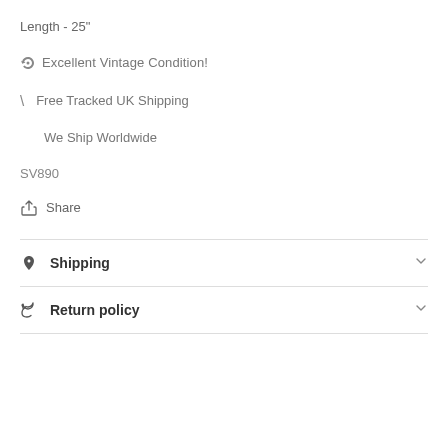Length - 25"
♻ Excellent Vintage Condition!
\ Free Tracked UK Shipping
We Ship Worldwide
SV890
Share
Shipping
Return policy